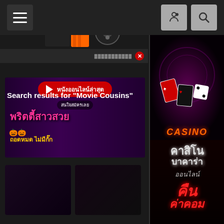[Figure (screenshot): Website navigation bar with hamburger menu on left and settings/search icons on right, dark background]
[Figure (illustration): Movie/cinema themed graphic with stars, popcorn, film reel, cinema tickets]
Search results for "Movie Cousins"
[Figure (photo): Thai adult movie website banner: หนังออนไลน์ล่าสุด (Latest online movies), พริตตี้สาวสวย (Pretty beautiful girls), ถอดหมด ไม่มีกั๊ก (Fully uncensored)]
[Figure (photo): Two dark movie thumbnail images in a grid]
[Figure (photo): Casino advertisement banner top section with CASINO text and gambling imagery]
[Figure (photo): Casino advertisement: คาสิโน บาคาร่า ออนไลน์ (Casino Baccarat Online), คืนค่าคอม (Commission refund)]